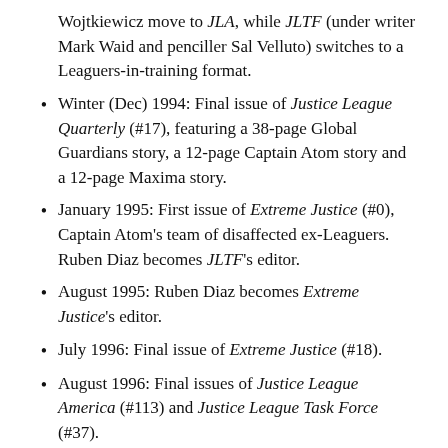Wojtkiewicz move to JLA, while JLTF (under writer Mark Waid and penciller Sal Velluto) switches to a Leaguers-in-training format.
Winter (Dec) 1994: Final issue of Justice League Quarterly (#17), featuring a 38-page Global Guardians story, a 12-page Captain Atom story and a 12-page Maxima story.
January 1995: First issue of Extreme Justice (#0), Captain Atom’s team of disaffected ex-Leaguers. Ruben Diaz becomes JLTF’s editor.
August 1995: Ruben Diaz becomes Extreme Justice’s editor.
July 1996: Final issue of Extreme Justice (#18).
August 1996: Final issues of Justice League America (#113) and Justice League Task Force (#37).